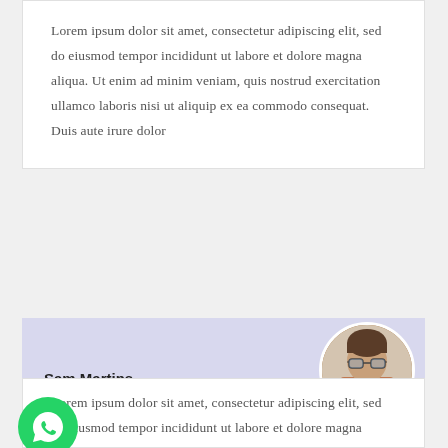Lorem ipsum dolor sit amet, consectetur adipiscing elit, sed do eiusmod tempor incididunt ut labore et dolore magna aliqua. Ut enim ad minim veniam, quis nostrud exercitation ullamco laboris nisi ut aliquip ex ea commodo consequat. Duis aute irure dolor
Sam Martins
UI/UX Designer
[Figure (photo): Circular profile photo of a man wearing sunglasses]
Lorem ipsum dolor sit amet, consectetur adipiscing elit, sed do eiusmod tempor incididunt ut labore et dolore magna aliqua. Ut enim ad minim veniam, quis nostrud exercitation ullamco laboris nisi ut aliquip ex ea commodo
[Figure (logo): WhatsApp green circular button with phone handset icon]